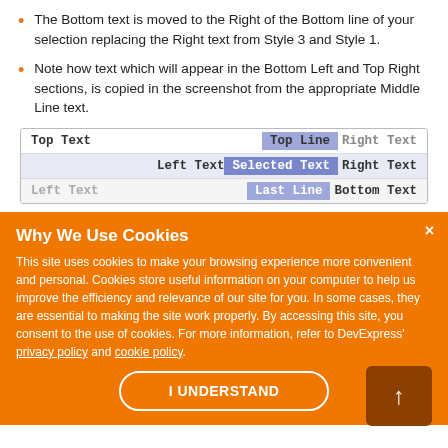The Bottom text is moved to the Right of the Bottom line of your selection replacing the Right text from Style 3 and Style 1.
Note how text which will appear in the Bottom Left and Top Right sections, is copied in the screenshot from the appropriate Middle Line text.
[Figure (screenshot): Screenshot showing a text selection interface with rows: 'Top Text | Top Line | Right Text', 'Left Text | Selected Text | Right Text', 'Left Text | Last Line | Bottom Text']
Why We Use Cookies
This site uses cookies to make your browsing experience more convenient and personal. Cookies store useful information on your computer to help us improve the efficiency and relevance of our site for you. In some cases, they are essential to making the site work properly. By accessing this site, you consent to the use of cookies. For more information, refer to DevExpress' privacy policy and cookie policy.
I UNDERSTAND